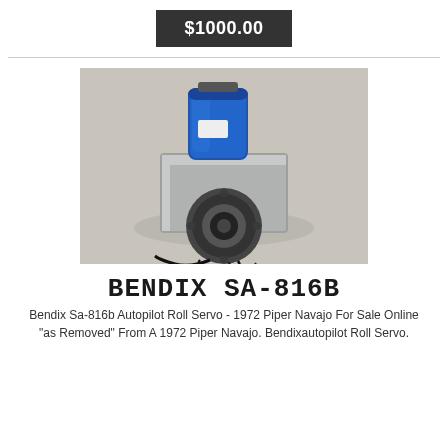$1000.00
[Figure (photo): Bendix SA-816B autopilot roll servo unit photographed from above. Blue cylindrical motor housing at top, square silver/grey body in middle, circular black connector/gear assembly at bottom with wires.]
BENDIX SA-816B
Bendix Sa-816b Autopilot Roll Servo - 1972 Piper Navajo For Sale Online
"as Removed" From A 1972 Piper Navajo. Bendixautopilot Roll Servo.